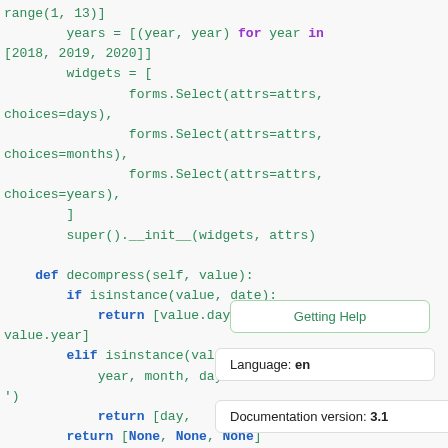Code snippet showing Python class methods with syntax highlighting, including years list comprehension, widgets list with forms.Select calls, super().__init__, def decompress method, if/elif isinstance checks, return statements.
[Figure (screenshot): Getting Help tooltip box overlaying the code]
[Figure (screenshot): Language: en tooltip box]
[Figure (screenshot): Documentation version: 3.1 tooltip box]